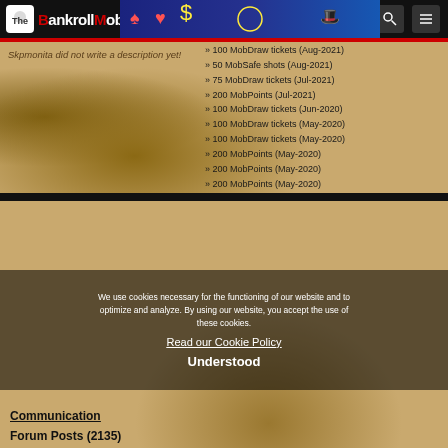The BankrollMob
Skpmonita did not write a description yet!
» 100 MobDraw tickets (Aug-2021)
» 50 MobSafe shots (Aug-2021)
» 75 MobDraw tickets (Jul-2021)
» 200 MobPoints (Jul-2021)
» 100 MobDraw tickets (Jun-2020)
» 100 MobDraw tickets (May-2020)
» 100 MobDraw tickets (May-2020)
» 200 MobPoints (May-2020)
» 200 MobPoints (May-2020)
» 200 MobPoints (May-2020)
» 100 MobDraw tickets (Apr-2020)
Communication
Forum Posts (2135)
» How good are you at poker? 26/09/2021
» Italy wins UEFA Euro 2020 Final, beating England 3... 15/07/2021
» Party casino click card promo 17/05/2020
» Bundesliga is Back - Check out Unibet's Football Hubs 17/05/2020
» the deal 17/05/2020
» Galfond Challenge: Phil Galfond bested Daniel R... 17/05/2020
» 888 poker 17/05/2020
» partypoker Releases New Fastforward Mobile Experience 19/01/2020
» 888 Storm 19/01/2020
We use cookies necessary for the functioning of our website and to optimize and analyze. By using our website, you accept the use of these cookies. Read our Cookie Policy Understood